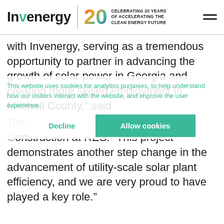Invenergy | CELEBRATING 20 YEARS OF ACCELERATING THE CLEAN ENERGY FUTURE
with Invenergy, serving as a tremendous opportunity to partner in advancing the growth of solar power in Georgia and creating more skilled employment in Mitchell County," said
Tim Jordan, Senior Vice President of Construction at RES. "This project demonstrates another step change in the advancement of utility-scale solar plant efficiency, and we are very proud to have played a key role."
This website uses cookies for analytics purposes, to help understand how our visitors interact with the website, and improve the user experience.
Decline | Allow cookies
Invenergy Services is operating the solar facility, adding to its 10-gigawatt global